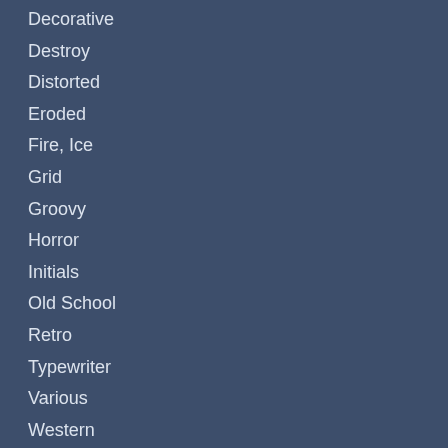Decorative
Destroy
Distorted
Eroded
Fire, Ice
Grid
Groovy
Horror
Initials
Old School
Retro
Typewriter
Various
Western
Basic
Fixed width
Sans serif